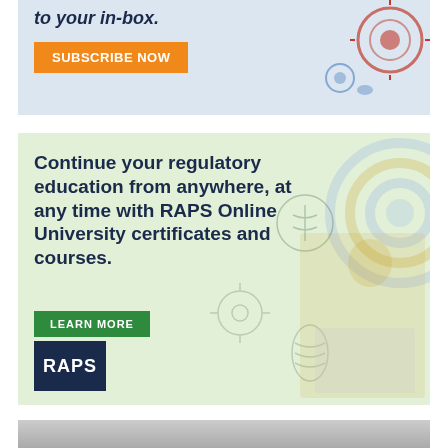[Figure (infographic): Top advertisement banner with light blue background, bold italic text 'to your in-box.' and an orange 'SUBSCRIBE NOW' button, with decorative circular/virus graphics on the right.]
[Figure (infographic): RAPS Online University advertisement on a light green background. Bold dark blue headline: 'Continue your regulatory education from anywhere, at any time with RAPS Online University certificates and courses.' Green 'LEARN MORE' button. RAPS logo in bottom left. Decorative concentric circles and science icons on right. Woman in yellow working on laptop.]
[Figure (infographic): Partial bottom banner with gray gradient background, partially visible.]